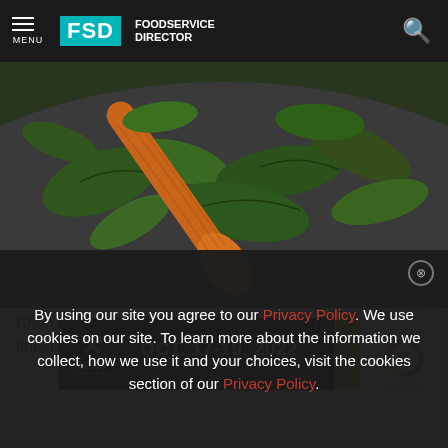MENU | FSD FOODSERVICE DIRECTOR
[Figure (photo): Close-up photo of green leafy vegetables being stirred in a pan with a wooden spatula]
Photo: S
[Figure (infographic): Advertisement banner for Menu Directions event: OCT. 17-19, 2022 at University of Notre Dame, with yellow accent block and close button]
Cherokee... is hosting a farm-to-the-finest celebration
By using our site you agree to our Privacy Policy. We use cookies on our site. To learn more about the information we collect, how we use it and your choices, visit the cookies section of our Privacy Policy.